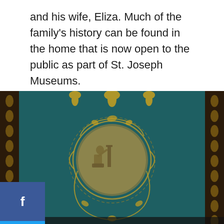and his wife, Eliza. Much of the family's history can be found in the home that is now open to the public as part of St. Joseph Museums.
[Figure (photo): A decorative neoclassical panel or wallpaper featuring a teal/dark green background with gold ornamental designs including floral motifs and a central circular medallion depicting a seated classical female figure next to a column. The panel is framed with an ornate gold border. Social media sharing buttons (Facebook, Twitter, Pinterest) are overlaid on the left side.]